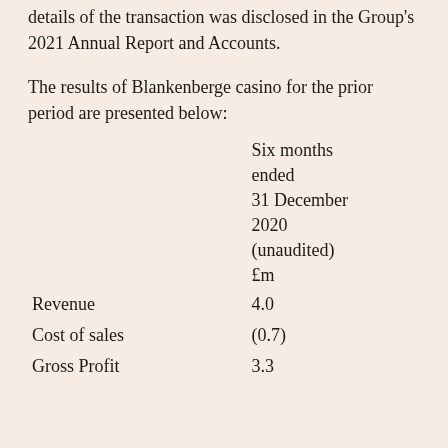details of the transaction was disclosed in the Group's 2021 Annual Report and Accounts.
The results of Blankenberge casino for the prior period are presented below:
|  | Six months ended 31 December 2020 (unaudited) £m |
| --- | --- |
| Revenue | 4.0 |
| Cost of sales | (0.7) |
| Gross Profit | 3.3 |